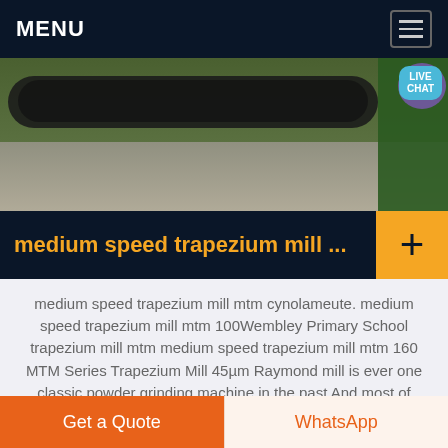MENU
[Figure (photo): Industrial machinery/crawler tracks on concrete ground with green equipment visible, partially cropped. Live Chat bubble overlay in top right corner.]
medium speed trapezium mill ...
medium speed trapezium mill mtm cynolameute. medium speed trapezium mill mtm 100Wembley Primary School trapezium mill mtm medium speed trapezium mill mtm 160 MTM Series Trapezium Mill 45µm Raymond mill is ever one classic powder grinding machine in the past And most of modern mill
Get a Quote | WhatsApp